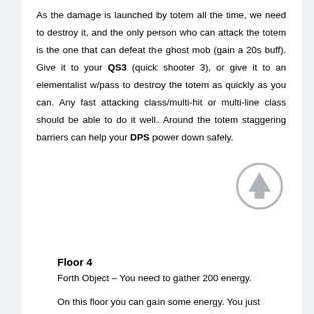As the damage is launched by totem all the time, we need to destroy it, and the only person who can attack the totem is the one that can defeat the ghost mob (gain a 20s buff). Give it to your QS3 (quick shooter 3), or give it to an elementalist w/pass to destroy the totem as quickly as you can. Any fast attacking class/multi-hit or multi-line class should be able to do it well. Around the totem staggering barriers can help your DPS power down safely.
Floor 4
Forth Object – You need to gather 200 energy.
On this floor you can gain some energy. You just